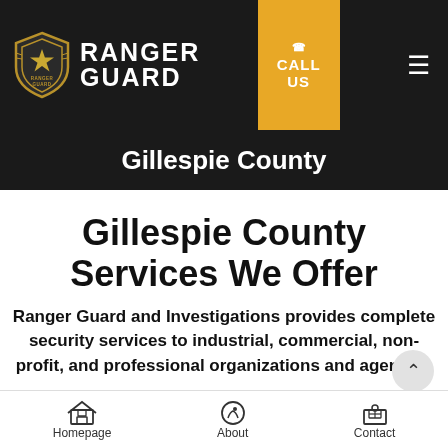[Figure (logo): Ranger Guard shield logo with star and text RANGER GUARD in white on dark header]
CALL US
Gillespie County
Gillespie County Services We Offer
Ranger Guard and Investigations provides complete security services to industrial, commercial, non-profit, and professional organizations and agencies
Homepage | About | Contact